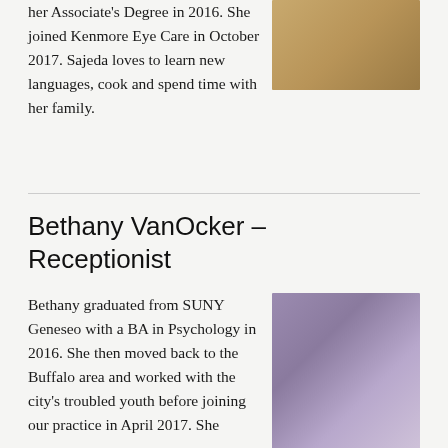her Associate's Degree in 2016. She joined Kenmore Eye Care in October 2017. Sajeda loves to learn new languages, cook and spend time with her family.
[Figure (photo): Portrait photo of a woman wearing a tan/beige hijab and blue top]
Bethany VanOcker – Receptionist
[Figure (photo): Portrait photo of a young woman with dark hair, smiling, wearing a black and white striped top, against a purple background]
Bethany graduated from SUNY Geneseo with a BA in Psychology in 2016. She then moved back to the Buffalo area and worked with the city's troubled youth before joining our practice in April 2017. She